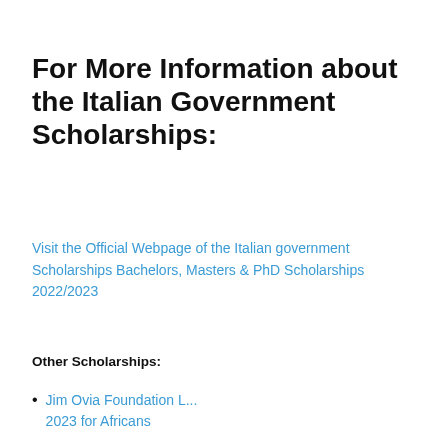For More Information about the Italian Government Scholarships:
Visit the Official Webpage of the Italian government Scholarships Bachelors, Masters & PhD Scholarships 2022/2023
Other Scholarships:
Jim Ovia Foundation L... 2023 for Africans
Join Our Telegram Group For Thousands of Opportunities